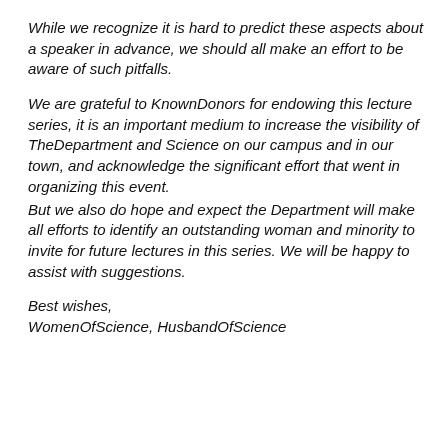While we recognize it is hard to predict these aspects about a speaker in advance, we should all make an effort to be aware of such pitfalls.
We are grateful to KnownDonors for endowing this lecture series, it is an important medium to increase the visibility of TheDepartment and Science on our campus and in our town, and acknowledge the significant effort that went in organizing this event.
But we also do hope and expect the Department will make all efforts to identify an outstanding woman and minority to invite for future lectures in this series. We will be happy to assist with suggestions.
Best wishes,
WomenOfScience, HusbandOfScience